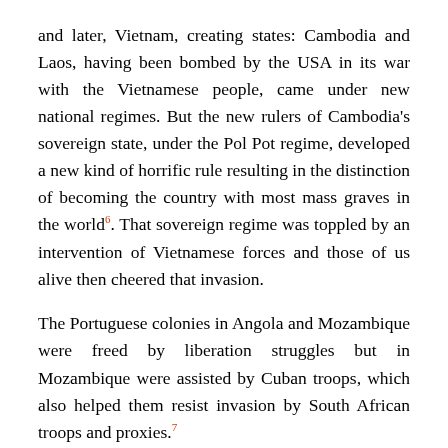and later, Vietnam, creating states: Cambodia and Laos, having been bombed by the USA in its war with the Vietnamese people, came under new national regimes. But the new rulers of Cambodia's sovereign state, under the Pol Pot regime, developed a new kind of horrific rule resulting in the distinction of becoming the country with most mass graves in the world⁶. That sovereign regime was toppled by an intervention of Vietnamese forces and those of us alive then cheered that invasion.
The Portuguese colonies in Angola and Mozambique were freed by liberation struggles but in Mozambique were assisted by Cuban troops, which also helped them resist invasion by South African troops and proxies.⁷
Much closer to our own time, the UK and USA/NATO